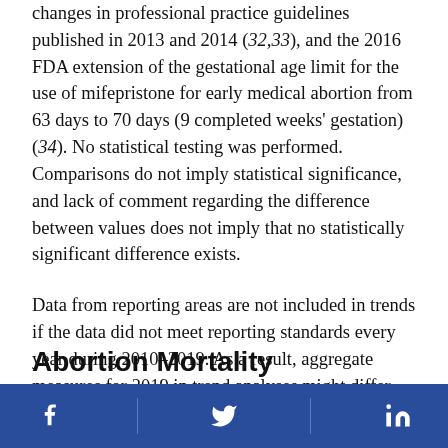changes in professional practice guidelines published in 2013 and 2014 (32,33), and the 2016 FDA extension of the gestational age limit for the use of mifepristone for early medical abortion from 63 days to 70 days (9 completed weeks' gestation) (34). No statistical testing was performed. Comparisons do not imply statistical significance, and lack of comment regarding the difference between values does not imply that no statistically significant difference exists.
Data from reporting areas are not included in trends if the data did not meet reporting standards every year during 2010–2019. As a result, aggregate measures for 2019 in trend analyses might differ from the point estimates reported for 2019.
Abortion Mortality
Social media links: Facebook, Twitter, LinkedIn